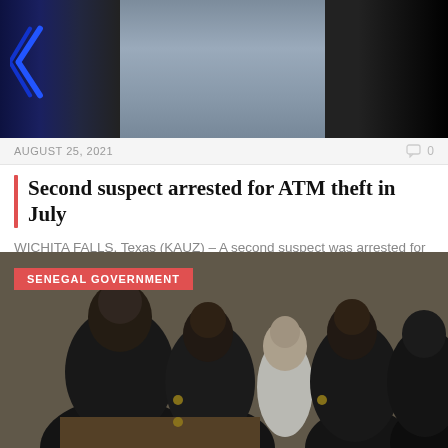[Figure (photo): Mugshot-style photo of a person in a gray head covering against a grayish background, with dark blue chevron design on the left side]
AUGUST 25, 2021
0
Second suspect arrested for ATM theft in July
WICHITA FALLS, Texas (KAUZ) – A second suspect was arrested for attempted theft of an...
[Figure (photo): Photo of multiple uniformed security officers/police in black uniforms surrounding a person in white at what appears to be a courtroom or official setting. Tag reads SENEGAL GOVERNMENT.]
SENEGAL GOVERNMENT